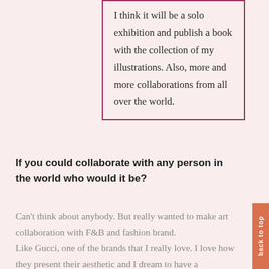I think it will be a solo exhibition and publish a book with the collection of my illustrations. Also, more and more collaborations from all over the world.
If you could collaborate with any person in the world who would it be?
Can't think about anybody. But really wanted to make art collaboration with F&B and fashion brand. Like Gucci, one of the brands that I really love. I love how they present their aesthetic and I dream to have a collaboration with them.